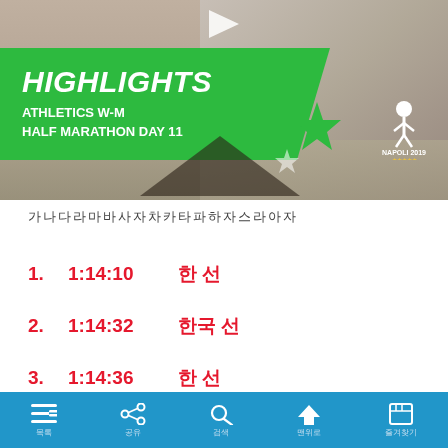[Figure (screenshot): Marathon highlights video thumbnail showing runners in a race, with green banner overlay reading HIGHLIGHTS ATHLETICS W-M HALF MARATHON DAY 11 and Napoli 2019 logo]
한국어 제목 텍스트 (Korean title text for the results)
1.  1:14:10  한 선
2.  1:14:32  한국 선
3.  1:14:36  한 선
4.  1:15:03  SCHONEBORN Deborah [GER]
5.  1:15:14  LI Zhixuan [CHN]
6.  1:15:28  CRISTIAN MASCOTE Citlali [MEX]
7.  1:15:50  MURRAY Rebecca Louise [GBR]
목록  공유  검색  맨위로  즐겨찾기